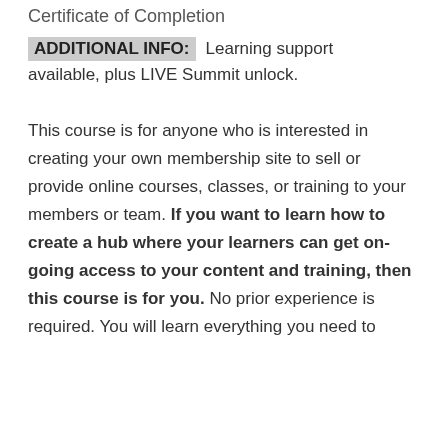Certificate of Completion
ADDITIONAL INFO: Learning support available, plus LIVE Summit unlock.
This course is for anyone who is interested in creating your own membership site to sell or provide online courses, classes, or training to your members or team. If you want to learn how to create a hub where your learners can get on-going access to your content and training, then this course is for you. No prior experience is required. You will learn everything you need to